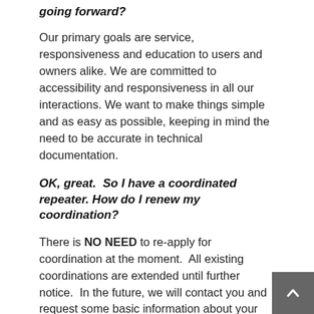going forward?
Our primary goals are service, responsiveness and education to users and owners alike. We are committed to accessibility and responsiveness in all our interactions. We want to make things simple and as easy as possible, keeping in mind the need to be accurate in technical documentation.
OK, great.  So I have a coordinated repeater. How do I renew my coordination?
There is NO NEED to re-apply for coordination at the moment.  All existing coordinations are extended until further notice.  In the future, we will contact you and request some basic information about your facilities to refresh our